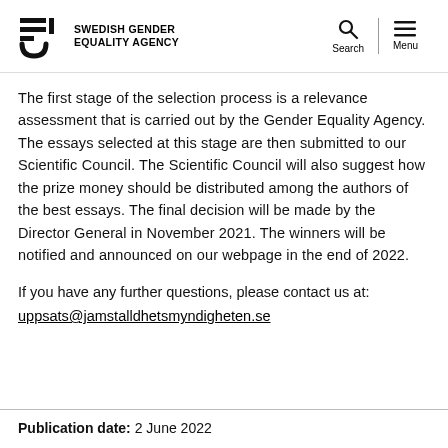Swedish Gender Equality Agency — Search | Menu
The first stage of the selection process is a relevance assessment that is carried out by the Gender Equality Agency. The essays selected at this stage are then submitted to our Scientific Council. The Scientific Council will also suggest how the prize money should be distributed among the authors of the best essays. The final decision will be made by the Director General in November 2021. The winners will be notified and announced on our webpage in the end of 2022.
If you have any further questions, please contact us at: uppsats@jamstalldhetsmyndigheten.se
Publication date: 2 June 2022